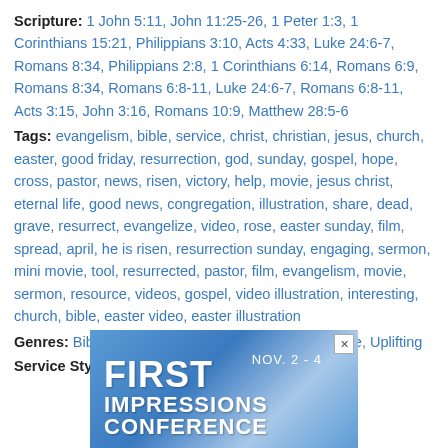Scripture: 1 John 5:11, John 11:25-26, 1 Peter 1:3, 1 Corinthians 15:21, Philippians 3:10, Acts 4:33, Luke 24:6-7, Romans 8:34, Philippians 2:8, 1 Corinthians 6:14, Romans 6:9, Romans 8:34, Romans 6:8-11, Luke 24:6-7, Romans 6:8-11, Acts 3:15, John 3:16, Romans 10:9, Matthew 28:5-6
Tags: evangelism, bible, service, christ, christian, jesus, church, easter, good friday, resurrection, god, sunday, gospel, hope, cross, pastor, news, risen, victory, help, movie, jesus christ, eternal life, good news, congregation, illustration, share, dead, grave, resurrect, evangelize, video, rose, easter sunday, film, spread, april, he is risen, resurrection sunday, engaging, sermon, mini movie, tool, resurrected, pastor, film, evangelism, movie, sermon, resource, videos, gospel, video illustration, interesting, church, bible, easter video, easter illustration
Genres: Bible History, Emotional, Powerful, Reflective, Uplifting
Service Styles: Contemporary, Traditional
[Figure (illustration): Advertisement banner for First Impressions Conference, Nov. 2-4, with blue gradient background and white bold text]